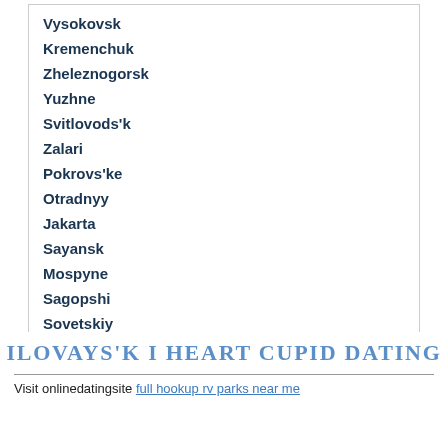Vysokovsk
Kremenchuk
Zheleznogorsk
Yuzhne
Svitlovods'k
Zalari
Pokrovs'ke
Otradnyy
Jakarta
Sayansk
Mospyne
Sagopshi
Sovetskiy
ILOVAYS'K I HEART CUPID DATING
Visit onlinedatingsite full hookup rv parks near me